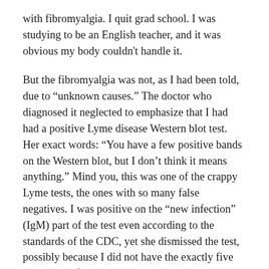with fibromyalgia. I quit grad school. I was studying to be an English teacher, and it was obvious my body couldn't handle it.
But the fibromyalgia was not, as I had been told, due to “unknown causes.” The doctor who diagnosed it neglected to emphasize that I had had a positive Lyme disease Western blot test. Her exact words: “You have a few positive bands on the Western blot, but I don’t think it means anything.” Mind you, this was one of the crappy Lyme tests, the ones with so many false negatives. I was positive on the “new infection” (IgM) part of the test even according to the standards of the CDC, yet she dismissed the test, possibly because I did not have the exactly five IgG (past infection) bands the CDC requires (these tests were designed for survey and not diagnostic purposes,